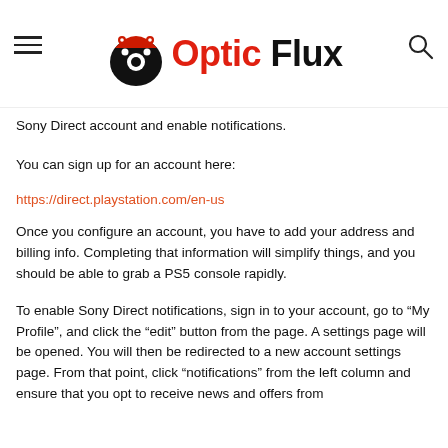Optic Flux
Sony Direct account and enable notifications.
You can sign up for an account here:
https://direct.playstation.com/en-us
Once you configure an account, you have to add your address and billing info. Completing that information will simplify things, and you should be able to grab a PS5 console rapidly.
To enable Sony Direct notifications, sign in to your account, go to “My Profile”, and click the “edit” button from the page. A settings page will be opened. You will then be redirected to a new account settings page. From that point, click “notifications” from the left column and ensure that you opt to receive news and offers from